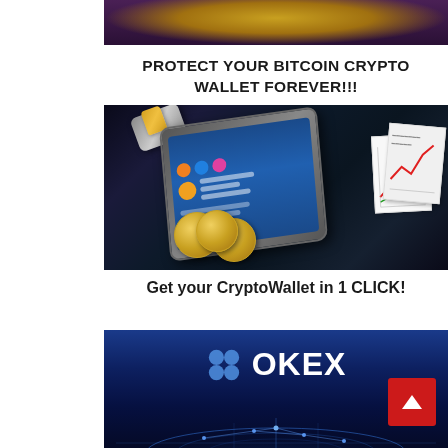[Figure (photo): Partial photo of a Bitcoin coin on a dark purple background, cropped at top]
PROTECT YOUR BITCOIN CRYPTO WALLET FOREVER!!!
[Figure (illustration): Illustration of a smartphone acting as a crypto wallet with Bitcoin coins spilling out, a USB hardware key, and financial charts in the background]
Get your CryptoWallet in 1 CLICK!
[Figure (logo): OKEx cryptocurrency exchange logo with blue globe/network background]